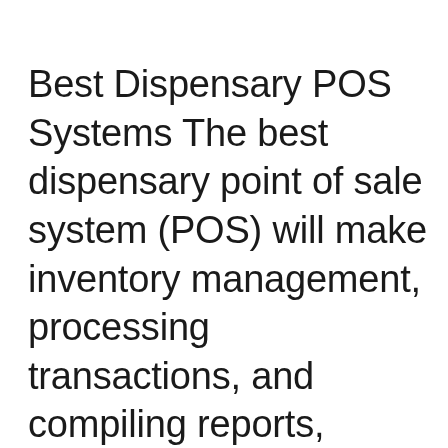Best Dispensary POS Systems The best dispensary point of sale system (POS) will make inventory management, processing transactions, and compiling reports, easier and less time-consuming. Implementing the right POS